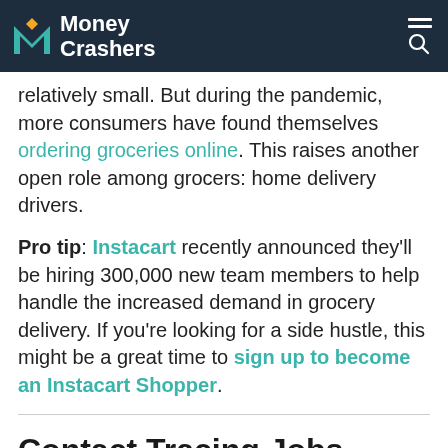Money Crashers
relatively small. But during the pandemic, more consumers have found themselves ordering groceries online. This raises another open role among grocers: home delivery drivers.
Pro tip: Instacart recently announced they'll be hiring 300,000 new team members to help handle the increased demand in grocery delivery. If you're looking for a side hustle, this might be a great time to sign up to become an Instacart Shopper.
Contact Tracing Jobs